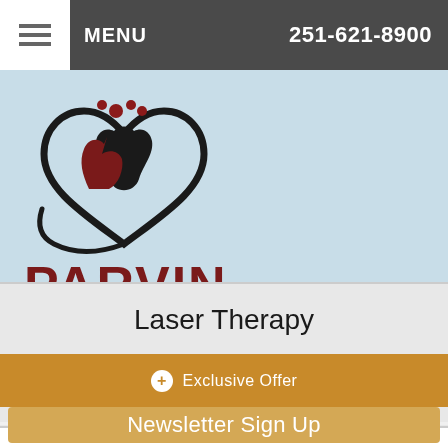MENU  251-621-8900
[Figure (logo): Parvin Animal Clinic logo: heart outline with silhouettes of a cat and dog inside, red paw print above, with text PARVIN in bold red and ANIMAL CLINIC in black below]
Laser Therapy
⊕ Exclusive Offer
Newsletter Sign Up